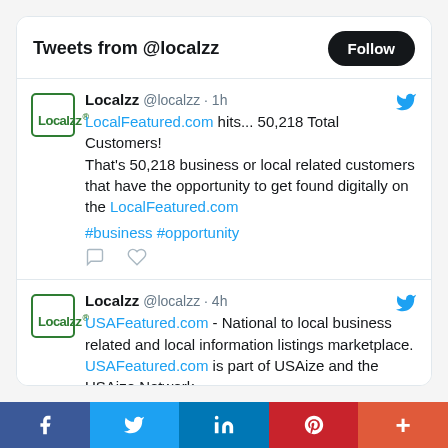Tweets from @localzz
Localzz @localzz · 1h
LocalFeatured.com hits... 50,218 Total Customers!
That's 50,218 business or local related customers that have the opportunity to get found digitally on the LocalFeatured.com
#business #opportunity
Localzz @localzz · 4h
USAFeatured.com - National to local business related and local information listings marketplace. USAFeatured.com is part of USAize and the USAize Network.
f  ✓  in  P  +